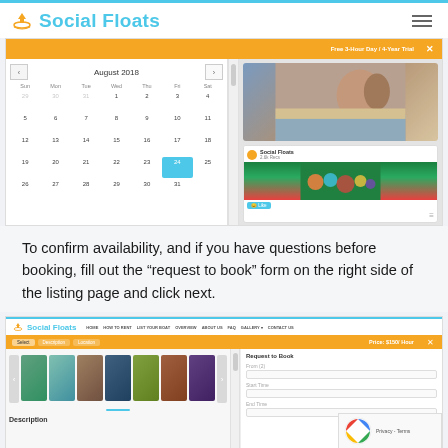Social Floats
[Figure (screenshot): Screenshot of a booking calendar for August 2018 showing a monthly grid with navigation arrows, day columns (Sun through Sat), and dates 1-31. A selected booking appears highlighted in blue around August 24. To the right is a photo of a couple on a boat deck and a Social Floats Facebook-style post card with a colorful crowd image.]
To confirm availability, and if you have questions before booking, fill out the “request to book” form on the right side of the listing page and click next.
[Figure (screenshot): Screenshot of the Social Floats website listing page showing the header navigation bar with logo and menu items (HOME, HOW TO RENT, LIST YOUR BOAT, OVERVIEW, ABOUT US, FAQ, GALLERY, CONTACT US), an orange toolbar with tabs (Select, Description, Location) and price $150/Hour label, a photo gallery strip with 7 boat thumbnails with left/right arrows, a Description section header below, and on the right side a Request to Book form with fields for From, Start Time, End Time, and a reCAPTCHA widget.]